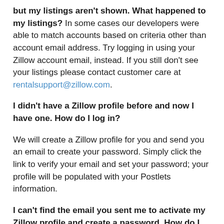but my listings aren't shown. What happened to my listings? In some cases our developers were able to match accounts based on criteria other than account email address. Try logging in using your Zillow account email, instead. If you still don't see your listings please contact customer care at rentalsupport@zillow.com.
I didn't have a Zillow profile before and now I have one. How do I log in?
We will create a Zillow profile for you and send you an email to create your password. Simply click the link to verify your email and set your password; your profile will be populated with your Postlets information.
I can't find the email you sent me to activate my Zillow profile and create a password. How do I log in?
Please go to Zillow's password reset page, enter your email address and click send. You will receive a new password to access your account shortly.